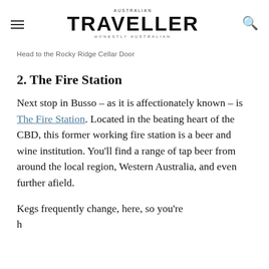AUSTRALIAN TRAVELLER HONESTLY AUSTRALIAN
Head to the Rocky Ridge Cellar Door
2. The Fire Station
Next stop in Busso – as it is affectionately known – is The Fire Station. Located in the beating heart of the CBD, this former working fire station is a beer and wine institution. You'll find a range of tap beer from around the local region, Western Australia, and even further afield.
Kegs frequently change, here, so you're handed to try something you'd...